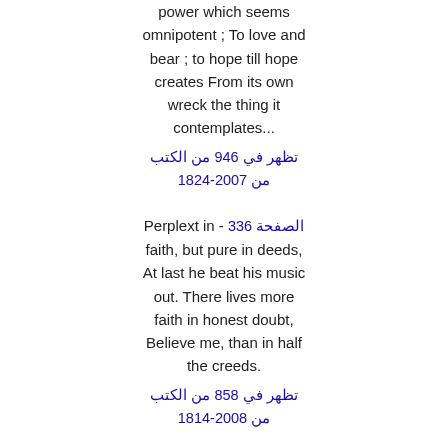power which seems omnipotent ; To love and bear ; to hope till hope creates From its own wreck the thing it contemplates...
تظهر في 946 من الكتب من 1824-2007
Perplext in - الصفحة 336
faith, but pure in deeds, At last he beat his music out. There lives more faith in honest doubt, Believe me, than in half the creeds.
تظهر في 858 من الكتب من 1814-2008
I am a part - الصفحة 38
of all that I have met; Yet all experience is an arch wherethrough Gleams